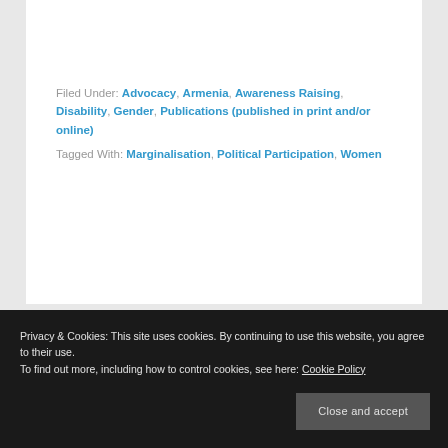Filed Under: Advocacy, Armenia, Awareness Raising, Disability, Gender, Publications (published in print and/or online)
Tagged With: Marginalisation, Political Participation, Women
Privacy & Cookies: This site uses cookies. By continuing to use this website, you agree to their use. To find out more, including how to control cookies, see here: Cookie Policy
Close and accept